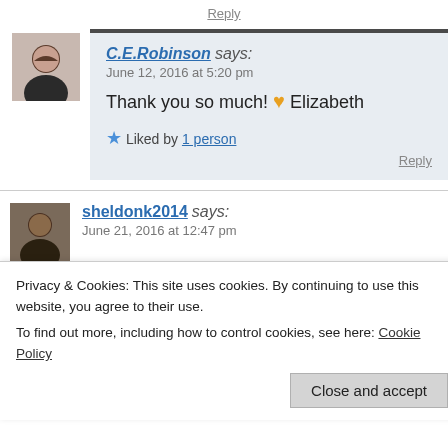Reply
C.E.Robinson says: June 12, 2016 at 5:20 pm
Thank you so much! 🧡 Elizabeth
★ Liked by 1 person
Reply
sheldonk2014 says: June 21, 2016 at 12:47 pm
Privacy & Cookies: This site uses cookies. By continuing to use this website, you agree to their use. To find out more, including how to control cookies, see here: Cookie Policy
Close and accept